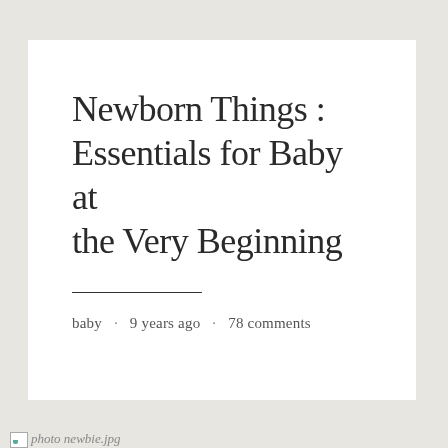Newborn Things : Essentials for Baby at the Very Beginning
baby · 9 years ago · 78 comments
[Figure (photo): Broken image placeholder labeled 'photo newbie.jpg']